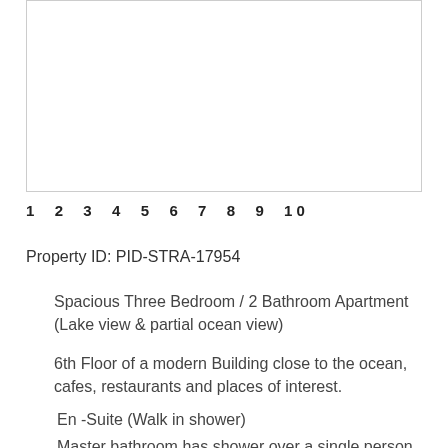[Figure (photo): Property photo placeholder (white box with border)]
1  2  3  4  5  6  7  8  9  10
Property ID: PID-STRA-17954
Spacious Three Bedroom / 2 Bathroom Apartment (Lake view & partial ocean view)
6th Floor of a modern Building close to the ocean, cafes, restaurants and places of interest.
En -Suite (Walk in shower)
Master bathroom has shower over a single person spa